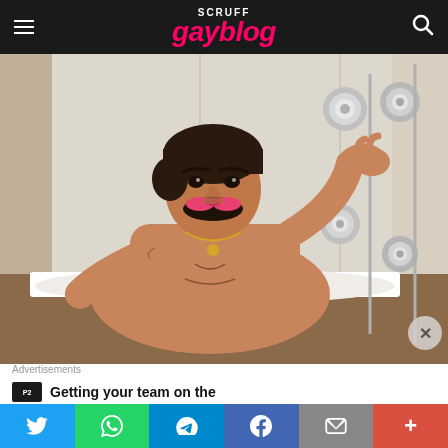SCRUFF gayblog
[Figure (photo): Shirtless man with mustache sitting in a bathtub with chrome shower fixtures visible, looking at camera]
Advertisements
Getting your team on the
Share buttons: Twitter, WhatsApp, Telegram, Facebook, Email, More